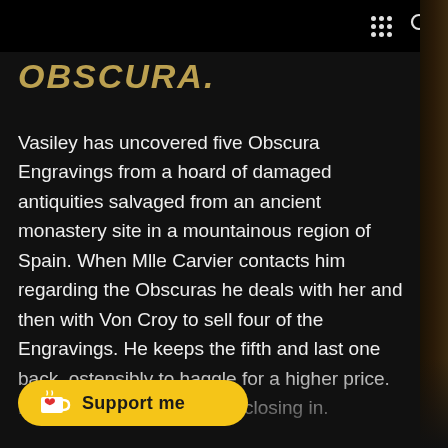OBSCURA.
Vasiley has uncovered five Obscura Engravings from a hoard of damaged antiquities salvaged from an ancient monastery site in a mountainous region of Spain. When Mlle Carvier contacts him regarding the Obscuras he deals with her and then with Von Croy to sell four of the Engravings. He keeps the fifth and last one back, ostensibly to haggle for a higher price. But there are other parties closing in.
Vasiley has also uncovered one of the five Obscura in Russia. His luck runs out Von Croy or negotiate a deal. He
[Figure (other): Support me button with Ko-fi cup and heart icon on yellow background]